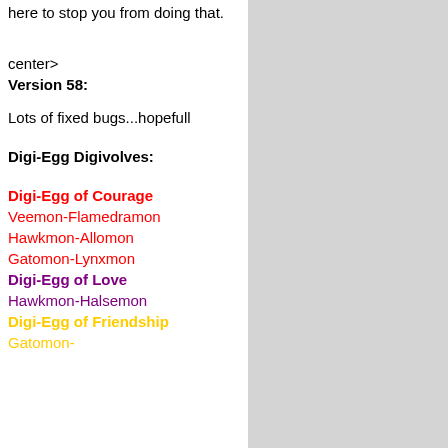here to stop you from doing that.
center>
Version 58:
Lots of fixed bugs...hopefull
Digi-Egg Digivolves:
Digi-Egg of Courage
Veemon-Flamedramon
Hawkmon-Allomon
Gatomon-Lynxmon
Digi-Egg of Love
Hawkmon-Halsemon
Digi-Egg of Friendship
Gatomon-